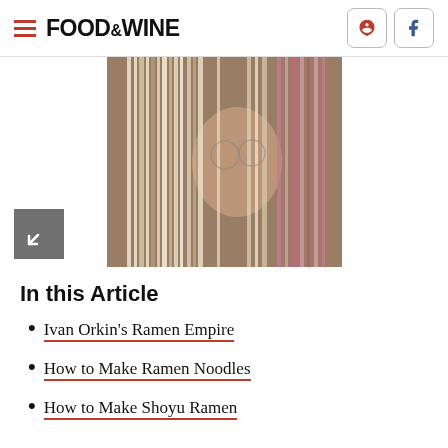FOOD & WINE
[Figure (photo): Man looking through hanging ramen noodles, face partially obscured by pale noodle strands with pink accents]
In this Article
Ivan Orkin's Ramen Empire
How to Make Ramen Noodles
How to Make Shoyu Ramen